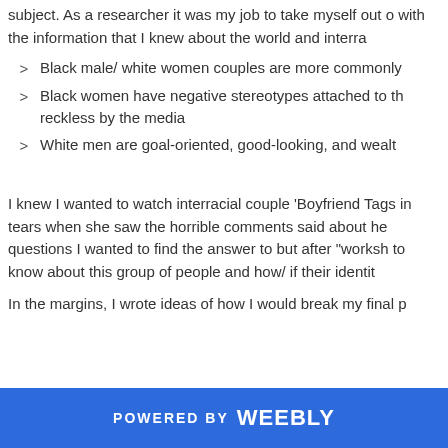subject. As a researcher it was my job to take myself out of the situation with the information that I knew about the world and interra…
Black male/ white women couples are more commonly…
Black women have negative stereotypes attached to th… reckless by the media
White men are goal-oriented, good-looking, and wealt…
I knew I wanted to watch interracial couple 'Boyfriend Tags… in tears when she saw the horrible comments said about he… questions I wanted to find the answer to but after "worksh… to know about this group of people and how/ if their identit…
In the margins, I wrote ideas of how I would break my final p…
POWERED BY weebly